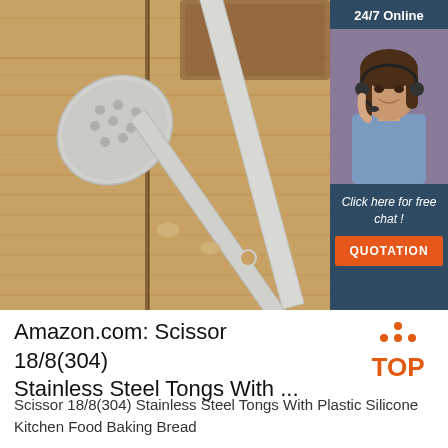[Figure (photo): Stainless steel slotted spoon/ladle and spatula lying on a wooden surface (cutting board visible in background). A '24/7 Online' customer service banner with a female agent photo, 'Click here for free chat!' text, and an orange 'QUOTATION' button overlaid in the top-right corner.]
Amazon.com: Scissor 18/8(304) Stainless Steel Tongs With ...
[Figure (logo): Orange 'TOP' badge with upward pointing triangle/arrow dots above the text TOP in orange.]
Scissor 18/8(304) Stainless Steel Tongs With Plastic Silicone Kitchen Food Baking Bread